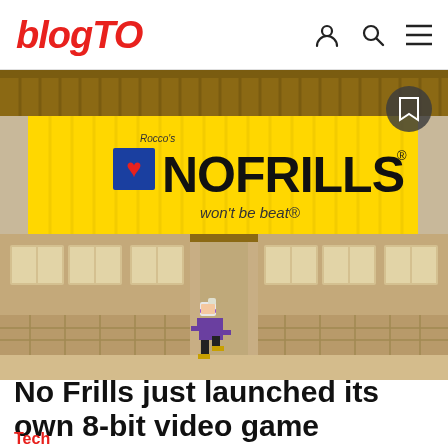blogTO
[Figure (illustration): 8-bit pixel art illustration of a No Frills grocery store exterior with yellow sign reading 'Rocco's NO FRILLS won't be beat®', brown brick facade with windows, and a pixel character running in front]
No Frills just launched its own 8-bit video game
Tech